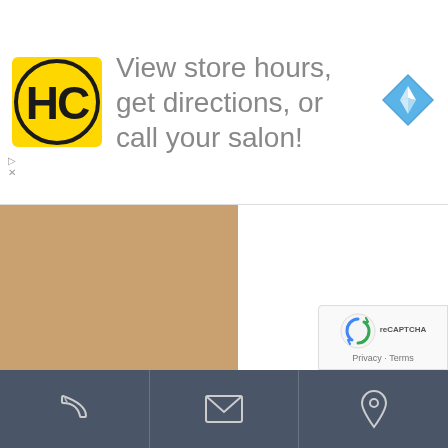[Figure (screenshot): App advertisement banner with HC logo, text 'View store hours, get directions, or call your salon!', and a blue navigation diamond icon]
[Figure (photo): Interior of a bar/restaurant with wooden counters, bar stools, and shelves of bottles]
[Figure (photo): Outdoor parking lot with trees and signs for 'All Day Parking King' and 'Marketplace Parking']
[Figure (screenshot): Mobile app bottom navigation bar with phone, email, and location icons]
[Figure (screenshot): Google reCAPTCHA badge in bottom right corner showing Privacy and Terms links]